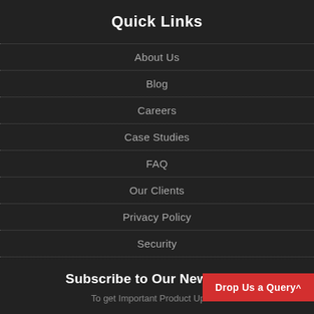Quick Links
About Us
Blog
Careers
Case Studies
FAQ
Our Clients
Privacy Policy
Security
Subscribe to Our Newsletter
To get Important Product Updates
Drop Us a Query^